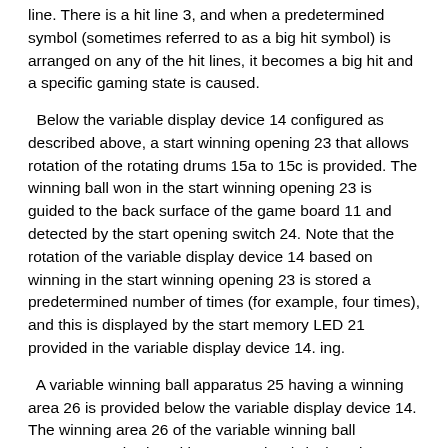line. There is a hit line 3, and when a predetermined symbol (sometimes referred to as a big hit symbol) is arranged on any of the hit lines, it becomes a big hit and a specific gaming state is caused.
Below the variable display device 14 configured as described above, a start winning opening 23 that allows rotation of the rotating drums 15a to 15c is provided. The winning ball won in the start winning opening 23 is guided to the back surface of the game board 11 and detected by the start opening switch 24. Note that the rotation of the variable display device 14 based on winning in the start winning opening 23 is stored a predetermined number of times (for example, four times), and this is displayed by the start memory LED 21 provided in the variable display device 14. ing.
A variable winning ball apparatus 25 having a winning area 26 is provided below the variable display device 14. The winning area 26 of the variable winning ball apparatus 25 is closed by an opening / closing plate 27 that pivotally supports both lower sides and can be opened and closed in a direction perpendicular to the surface of the game board 11. The opening / closing plate 27 is controlled to be